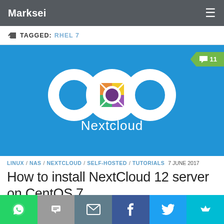Marksei
TAGGED: RHEL 7
[Figure (illustration): Nextcloud logo on blue background with comment badge showing 11 comments]
LINUX / NAS / NEXTCLOUD / SELF-HOSTED / TUTORIALS   7 JUNE 2017
How to install NextCloud 12 server on CentOS 7